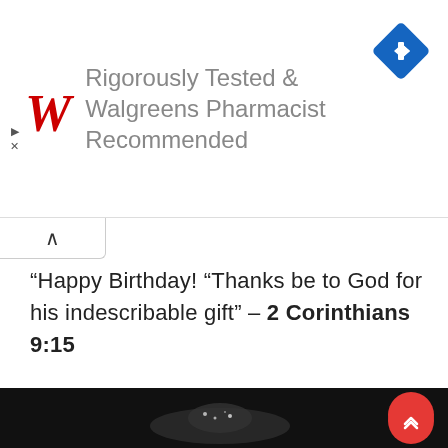[Figure (screenshot): Walgreens advertisement banner with red cursive W logo and text 'Rigorously Tested & Walgreens Pharmacist Recommended', with a blue navigation diamond icon in the top right, and small play/close icons on the left]
“Happy Birthday! “Thanks be to God for his indescribable gift” – 2 Corinthians 9:15
[Figure (photo): Black and white photograph of a hand holding sparkling jewelry or gems against a black background, with a red circular scroll-up button in the bottom right corner]